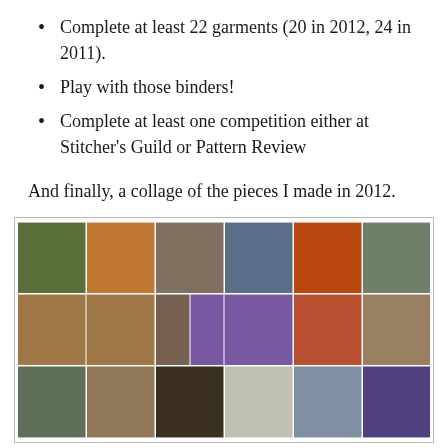Complete at least 22 garments (20 in 2012, 24 in 2011).
Play with those binders!
Complete at least one competition either at Stitcher's Guild or Pattern Review
And finally, a collage of the pieces I made in 2012.
[Figure (photo): A collage of garments and accessories (clothing, necklaces, handbags, fabric) made in 2012, arranged in a grid of photos.]